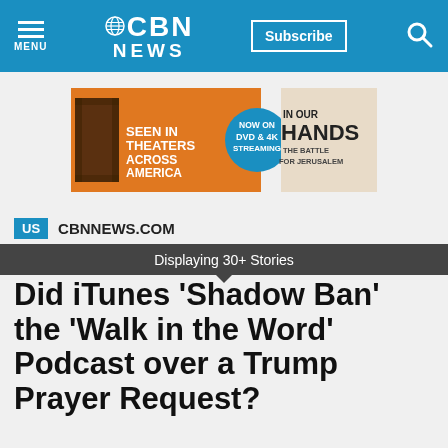MENU | CBN NEWS | Subscribe
[Figure (infographic): Ad banner: 'Seen in Theaters Across America | Now on DVD & 4K Streaming | In Our Hands The Battle for Jerusalem']
US   CBNNEWS.COM
Displaying 30+ Stories
Did iTunes 'Shadow Ban' the 'Walk in the Word' Podcast over a Trump Prayer Request?